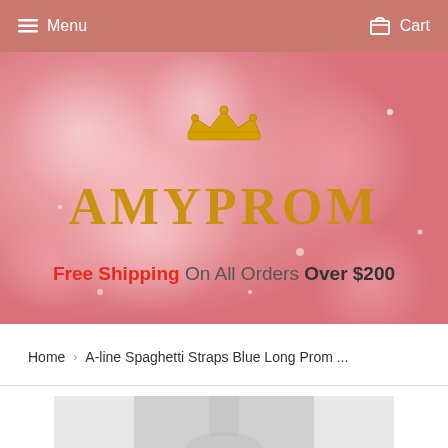Menu  Cart
[Figure (illustration): AmyProm website banner with pink bokeh background, gold crown icon, and AMYPROM logo text in gold. Text reads: Free Shipping On All Orders Over $200]
Home  ›  A-line Spaghetti Straps Blue Long Prom ...
[Figure (photo): Product photo showing a prom dress, partially visible at bottom of page]